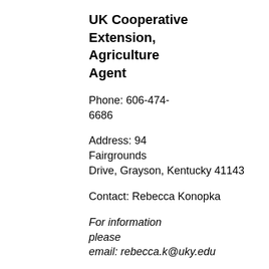UK Cooperative Extension, Agriculture Agent
Phone: 606-474-6686
Address: 94 Fairgrounds Drive, Grayson, Kentucky 41143
Contact: Rebecca Konopka
For information please email: rebecca.k@uky.edu